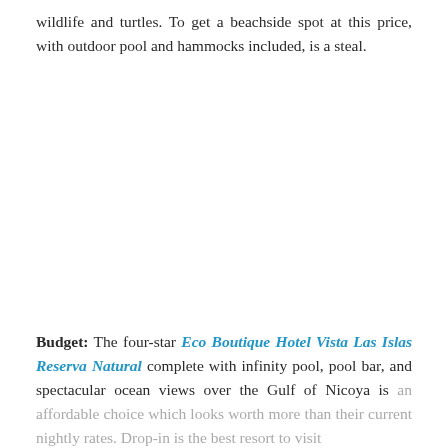wildlife and turtles. To get a beachside spot at this price, with outdoor pool and hammocks included, is a steal.
Budget: The four-star Eco Boutique Hotel Vista Las Islas Reserva Natural complete with infinity pool, pool bar, and spectacular ocean views over the Gulf of Nicoya is an affordable choice which looks worth more than their current nightly rates. Drop-in is the best resort to visit...